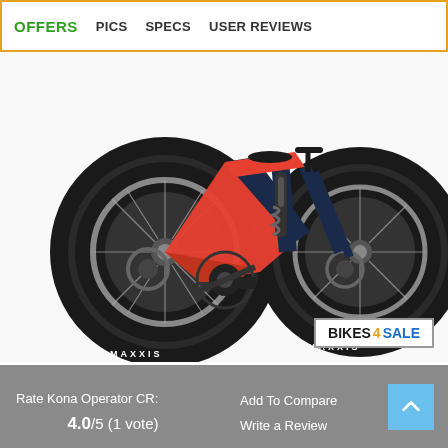OFFERS   PICS   SPECS   USER REVIEWS
[Figure (photo): Kona Operator CR full-suspension mountain bike in orange and dark navy blue colorway with Maxxis tires and disc brakes, shown from the right side.]
[Figure (logo): BIKES 4 SALE badge/logo — white background with orange border, bold text reading BIKES 4 SALE where 4 is in orange and SALE is in blue.]
Rate Kona Operator CR:
4.0/5 (1 vote)
Add To Compare
Write a Review